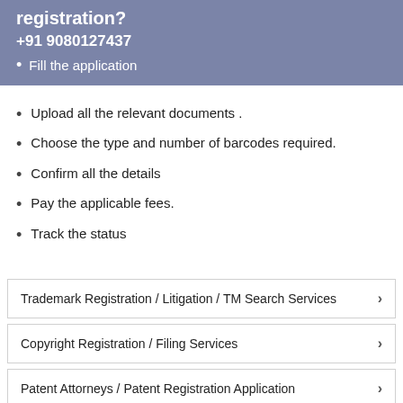registration?
+91 9080127437
Fill the application
Upload all the relevant documents .
Choose the type and number of barcodes required.
Confirm all the details
Pay the applicable fees.
Track the status
Trademark Registration / Litigation / TM Search Services
Copyright Registration / Filing Services
Patent Attorneys / Patent Registration Application
Design Registration Services / Design Protection
GST Registration / Online GST Filing